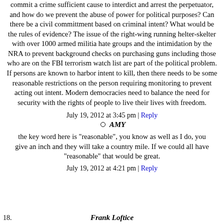commit a crime sufficient cause to interdict and arrest the perpetuator, and how do we prevent the abuse of power for political purposes? Can there be a civil committment based on criminal intent? What would be the rules of evidence? The issue of the right-wing running helter-skelter with over 1000 armed militia hate groups and the intimidation by the NRA to prevent background checks on purchasing guns including those who are on the FBI terrorism watch list are part of the political problem. If persons are known to harbor intent to kill, then there needs to be some reasonable restrictions on the person requiring monitoring to prevent acting out intent. Modern democracies need to balance the need for security with the rights of people to live their lives with freedom.
July 19, 2012 at 3:45 pm | Reply
AMY
the key word here is "reasonable", you know as well as I do, you give an inch and they will take a country mile. If we could all have "reasonable" that would be great.
July 19, 2012 at 4:21 pm | Reply
18. Frank Loftice